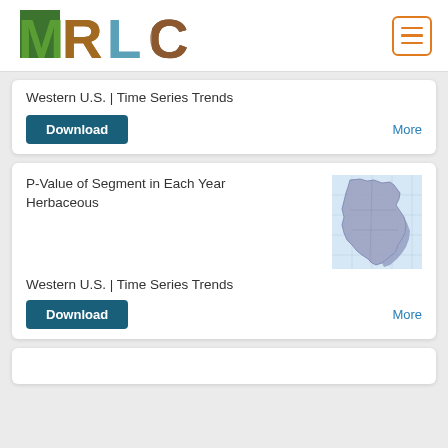[Figure (logo): MRLC logo with nature-themed letter fills (M=trees, R=wood, L=water, C=earth)]
Western U.S. | Time Series Trends
Download
More
P-Value of Segment in Each Year Herbaceous
[Figure (map): Map thumbnail showing Western U.S. region with state boundaries and terrain]
Western U.S. | Time Series Trends
Download
More